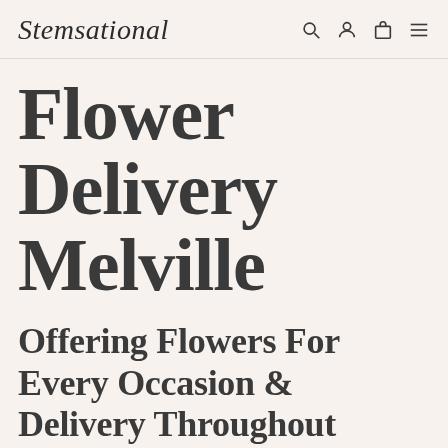Stemsational
Flower Delivery Melville
Offering Flowers For Every Occasion & Delivery Throughout